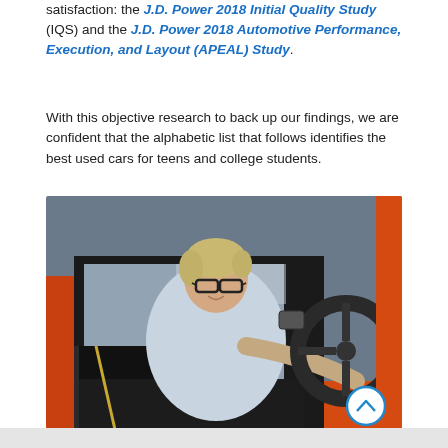satisfaction: the J.D. Power 2018 Initial Quality Study (IQS) and the J.D. Power 2018 Automotive Performance, Execution, and Layout (APEAL) Study.
With this objective research to back up our findings, we are confident that the alphabetic list that follows identifies the best used cars for teens and college students.
[Figure (photo): A smiling woman with short blonde hair and glasses leaning into an orange car, looking inside through the open door. The car interior with steering wheel is visible.]